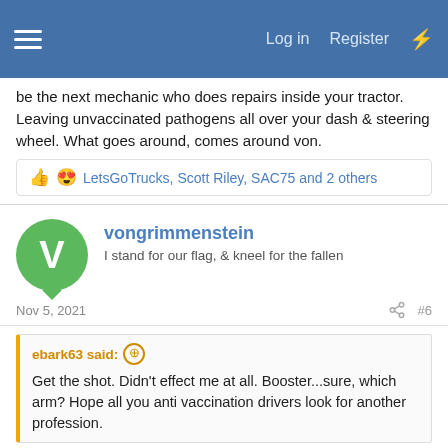Log in  Register
be the next mechanic who does repairs inside your tractor. Leaving unvaccinated pathogens all over your dash & steering wheel. What goes around, comes around von.
LetsGoTrucks, Scott Riley, SAC75 and 2 others
vongrimmenstein
I stand for our flag, & kneel for the fallen
Nov 5, 2021  #6
ebark63 said:
Get the shot. Didn't effect me at all. Booster...sure, which arm? Hope all you anti vaccination drivers look for another profession.
Were you just released from prison? I ask because you joined TB in Feb 2015 & have only 107 messages. Just curious. von. PS You did have Wi-Fi in your cell block, right?